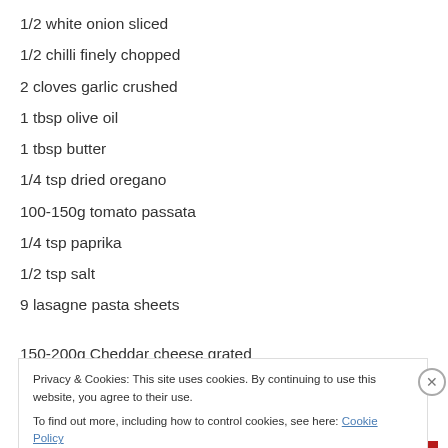1/2 white onion sliced
1/2 chilli finely chopped
2 cloves garlic crushed
1 tbsp olive oil
1 tbsp butter
1/4 tsp dried oregano
100-150g tomato passata
1/4 tsp paprika
1/2 tsp salt
9 lasagne pasta sheets
150-200g Cheddar cheese grated
Privacy & Cookies: This site uses cookies. By continuing to use this website, you agree to their use.
To find out more, including how to control cookies, see here: Cookie Policy